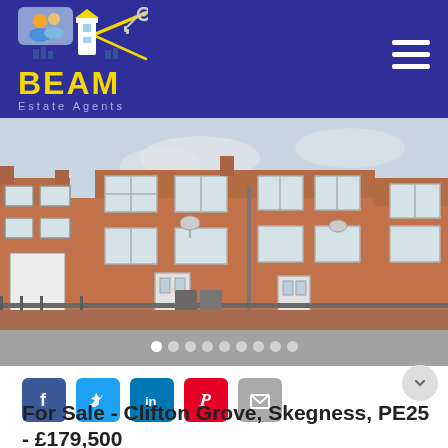[Figure (logo): BEAM Estate Agents logo with lighthouse graphic on dark blue/navy header background]
[Figure (photo): Exterior photo of a red brick terraced house for sale on Clifton Grove, Skegness, PE25 - showing two-storey Victorian/Edwardian terrace with white-framed windows]
For Sale - Clifton Grove, Skegness, PE25 - £179,500